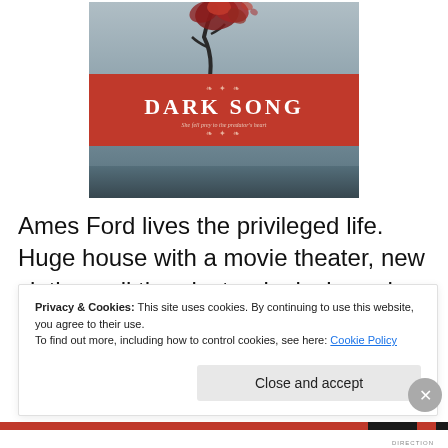[Figure (illustration): Book cover of 'Dark Song' by Gail Giles. Features a dark rose with thorns against a grey background, a red banner with the title 'DARK SONG' in white letters, subtitle 'She fell prey to the predator's heart', and author name 'Gail Giles'.]
Ames Ford lives the privileged life. Huge house with a movie theater, new clothes, all the electronic devices she could want and family vacations. The perfect family — until
Privacy & Cookies: This site uses cookies. By continuing to use this website, you agree to their use.
To find out more, including how to control cookies, see here: Cookie Policy
Close and accept